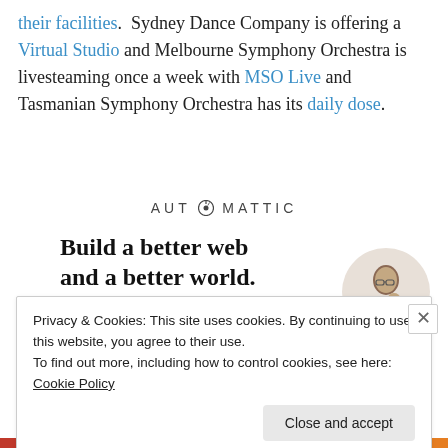their facilities. Sydney Dance Company is offering a Virtual Studio and Melbourne Symphony Orchestra is livesteaming once a week with MSO Live and Tasmanian Symphony Orchestra has its daily dose.
[Figure (logo): Automattic logo with circular compass icon replacing the letter O]
[Figure (infographic): Automattic advertisement: 'Build a better web and a better world.' with blue Apply button and photo of person thinking]
Privacy & Cookies: This site uses cookies. By continuing to use this website, you agree to their use.
To find out more, including how to control cookies, see here: Cookie Policy